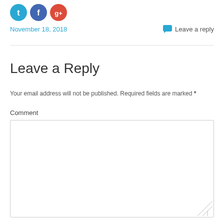[Figure (illustration): Three social media icon circles: Twitter (blue), Facebook (blue), Google+ (red)]
November 18, 2018
Leave a reply
Leave a Reply
Your email address will not be published. Required fields are marked *
Comment
[Figure (screenshot): Empty comment text area input box]